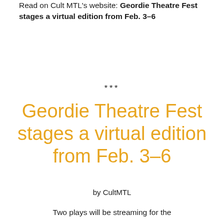Read on Cult MTL's website: Geordie Theatre Fest stages a virtual edition from Feb. 3–6
***
Geordie Theatre Fest stages a virtual edition from Feb. 3–6
by CultMTL
Two plays will be streaming for the